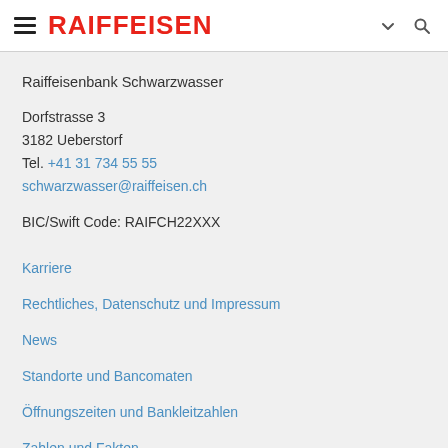RAIFFEISEN
Raiffeisenbank Schwarzwasser
Dorfstrasse 3
3182 Ueberstorf
Tel. +41 31 734 55 55
schwarwasser@raiffeisen.ch
BIC/Swift Code: RAIFCH22XXX
Karriere
Rechtliches, Datenschutz und Impressum
News
Standorte und Bancomaten
Öffnungszeiten und Bankleitzahlen
Zahlen und Fakten